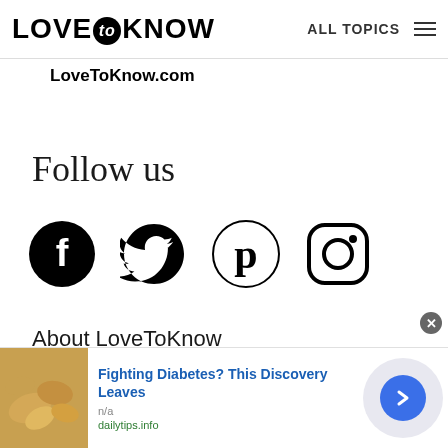LOVE to KNOW   ALL TOPICS
LoveToKnow.com
Follow us
[Figure (illustration): Social media icons row: Facebook, Twitter, Pinterest, Instagram — all black filled/outlined icons]
About LoveToKnow
LoveToKnow Studios
[Figure (infographic): Advertisement banner: cashew nuts photo on left, bold blue text 'Fighting Diabetes? This Discovery Leaves', source 'n/a', 'dailytips.info' in green, blue arrow button on right with grey circular background, close X button]